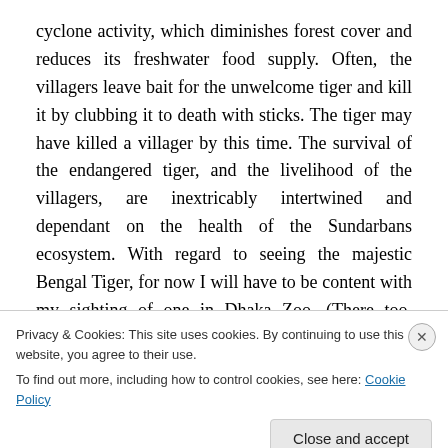cyclone activity, which diminishes forest cover and reduces its freshwater food supply. Often, the villagers leave bait for the unwelcome tiger and kill it by clubbing it to death with sticks. The tiger may have killed a villager by this time. The survival of the endangered tiger, and the livelihood of the villagers, are inextricably intertwined and dependant on the health of the Sundarbans ecosystem. With regard to seeing the majestic Bengal Tiger, for now I will have to be content with my sighting of one in Dhaka Zoo. (There too, according to newspaper reports, animals are not safe.)
Privacy & Cookies: This site uses cookies. By continuing to use this website, you agree to their use.
To find out more, including how to control cookies, see here: Cookie Policy
Close and accept